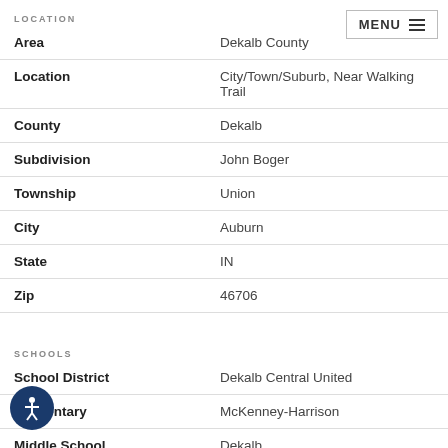LOCATION
| Field | Value |
| --- | --- |
| Area | Dekalb County |
| Location | City/Town/Suburb, Near Walking Trail |
| County | Dekalb |
| Subdivision | John Boger |
| Township | Union |
| City | Auburn |
| State | IN |
| Zip | 46706 |
SCHOOLS
| Field | Value |
| --- | --- |
| School District | Dekalb Central United |
| Elementary | McKenney-Harrison |
| Middle School | Dekalb |
| High School | Dekalb |